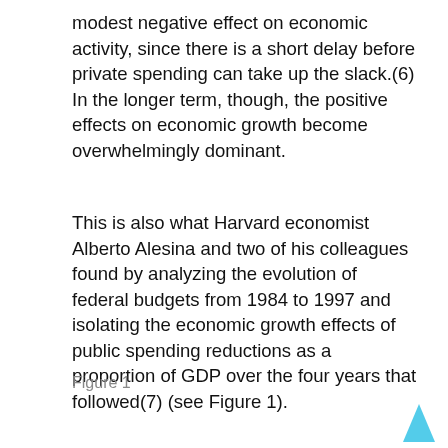modest negative effect on economic activity, since there is a short delay before private spending can take up the slack.(6) In the longer term, though, the positive effects on economic growth become overwhelmingly dominant.
This is also what Harvard economist Alberto Alesina and two of his colleagues found by analyzing the evolution of federal budgets from 1984 to 1997 and isolating the economic growth effects of public spending reductions as a proportion of GDP over the four years that followed(7) (see Figure 1).
Figure 1
[Figure (infographic): Dark blue box showing title text: 'Average economic growth effects of public spending reductions in Canada, 1984 to 1997' with a cyan/light blue upward arrow on the right side.]